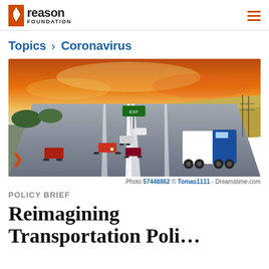reason FOUNDATION
Topics › Coronavirus
[Figure (photo): Highway scene at sunset with multiple lanes of traffic including cars and a blue semi-truck with white trailer in the foreground, green road sign visible, fields and power lines in background under dramatic orange-red sky]
Photo 57448862 © Tomas1111 - Dreamstime.com
POLICY BRIEF
Reimagining Transportation Poli…